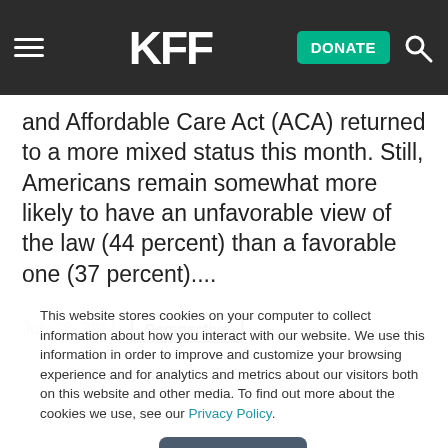KFF | DONATE
and Affordable Care Act (ACA) returned to a more mixed status this month. Still, Americans remain somewhat more likely to have an unfavorable view of the law (44 percent) than a favorable one (37 percent)....
July 28, 2011   Perspective
This website stores cookies on your computer to collect information about how you interact with our website. We use this information in order to improve and customize your browsing experience and for analytics and metrics about our visitors both on this website and other media. To find out more about the cookies we use, see our Privacy Policy.
Accept